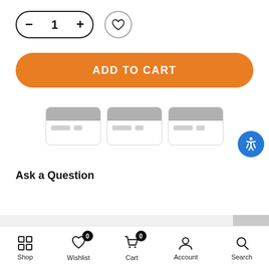[Figure (screenshot): Quantity selector control with minus button, number 1, and plus button in a pill-shaped border]
[Figure (screenshot): Heart/wishlist icon button in a circular border]
[Figure (screenshot): Orange 'ADD TO CART' button with pill shape]
[Figure (screenshot): Three payment card icons showing gray stripe credit cards]
[Figure (screenshot): Blue accessibility icon button]
Ask a Question
Description
[Figure (screenshot): Bottom navigation bar with Shop, Wishlist (0), Cart (0), Account, Search icons]